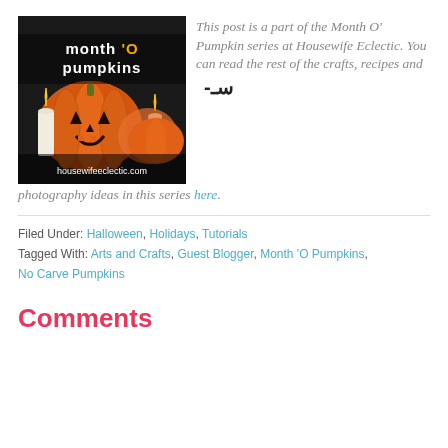[Figure (photo): Month O Pumpkins blog badge image showing jack-o-lantern pumpkins with candles and text 'month o pumpkins' and 'housewifeeclectic.com']
This post is a part of the Month O' Pumpkin series at Housewife Eclectic. You can read the rest of the crafts, recipes and photography ideas in this series here.
Filed Under: Halloween, Holidays, Tutorials
Tagged With: Arts and Crafts, Guest Blogger, Month 'O Pumpkins, No Carve Pumpkins
Comments